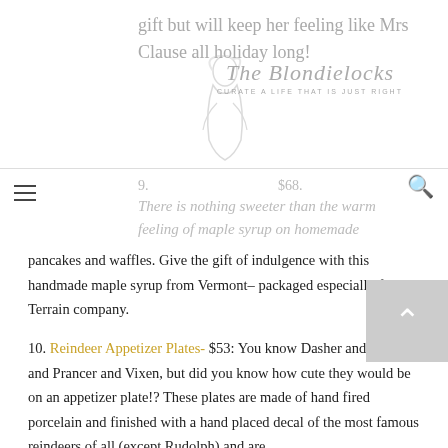The Blondielocks — Curate a life that is just right
gift but will keep her feeling like Mrs Clause all holiday long!
9. [Terrain Vermont Maple Syrup link] $68: There is nothing sweeter than the warm feeling of maple syrup on homemade pancakes and waffles. Give the gift of indulgence with this handmade maple syrup from Vermont– packaged especially for the Terrain company.
10. Reindeer Appetizer Plates- $53: You know Dasher and Dancer and Prancer and Vixen, but did you know how cute they would be on an appetizer plate!? These plates are made of hand fired porcelain and finished with a hand placed decal of the most famous reindeers of all (except Rudolph) and are